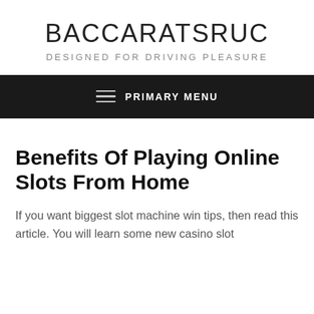BACCARATSRUC
DESIGNED FOR DRIVING PLEASURE
PRIMARY MENU
Benefits Of Playing Online Slots From Home
If you want biggest slot machine win tips, then read this article. You will learn some new casino slot